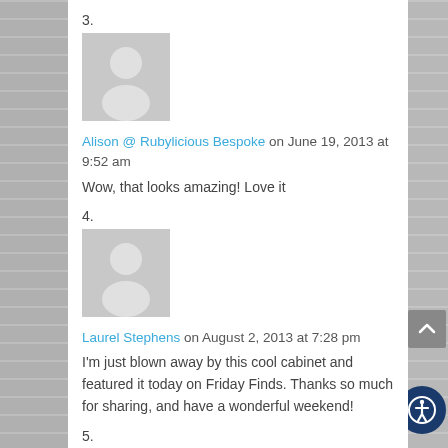3.
[Figure (illustration): Default user avatar placeholder - grey rectangle with white silhouette of a person]
Alison @ Rubylicious Bespoke on June 19, 2013 at 9:52 am
Wow, that looks amazing! Love it
4.
[Figure (illustration): Default user avatar placeholder - grey rectangle with white silhouette of a person]
Laurel Stephens on August 2, 2013 at 7:28 pm
I'm just blown away by this cool cabinet and featured it today on Friday Finds. Thanks so much for sharing, and have a wonderful weekend!
5.